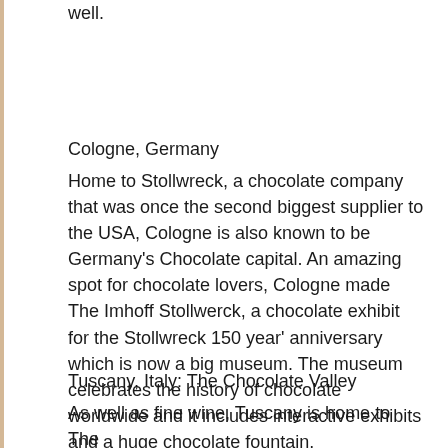well.
Cologne, Germany
Home to Stollwreck, a chocolate company that was once the second biggest supplier to the USA, Cologne is also known to be Germany's Chocolate capital. An amazing spot for chocolate lovers, Cologne made The Imhoff Stollwerck, a chocolate exhibit for the Stollwreck 150 year' anniversary which is now a big museum. The museum celebrates the history of chocolate worldwide and it includes interactive exhibits and a huge chocolate fountain.
Tuscany, Italy: The Chocolate Valley
As well as fine wine, Tuscany is home to The